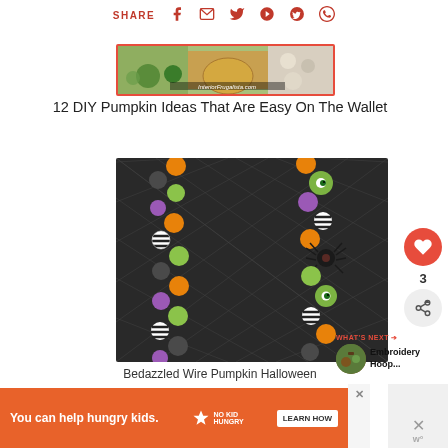SHARE
[Figure (photo): Thumbnail image of pumpkin decorations from InteriorFrugalista.com]
12 DIY Pumpkin Ideas That Are Easy On The Wallet
[Figure (photo): Bedazzled Wire Pumpkin Halloween garland with colorful beads in orange, purple, green, black and white striped patterns against black net background]
Bedazzled Wire Pumpkin Halloween
[Figure (photo): What's Next thumbnail - Embroidery Hoop...]
WHAT'S NEXT → Embroidery Hoop...
[Figure (infographic): Advertisement banner: You can help hungry kids. No Kid Hungry. Learn How.]